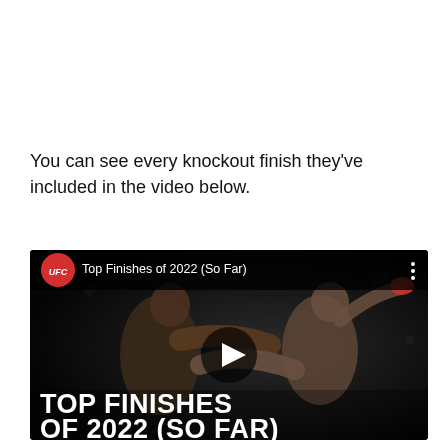You can see every knockout finish they've included in the video below.
[Figure (screenshot): YouTube video thumbnail showing UFC Top Finishes of 2022 (So Far). Two MMA fighters in an octagon — one delivering a flying kick. Large white bold text at bottom reads 'TOP FINISHES OF 2022 (SO FAR)'. UFC red logo and video title in top bar. Play button in center.]